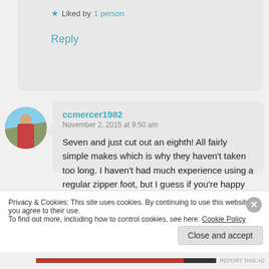★ Liked by 1 person
Reply
ccmercer1982
November 2, 2015 at 9:50 am

Seven and just cut out an eighth! All fairly simple makes which is why they haven't taken too long. I haven't had much experience using a regular zipper foot, but I guess if you're happy with the
Privacy & Cookies: This site uses cookies. By continuing to use this website, you agree to their use.
To find out more, including how to control cookies, see here: Cookie Policy
Close and accept